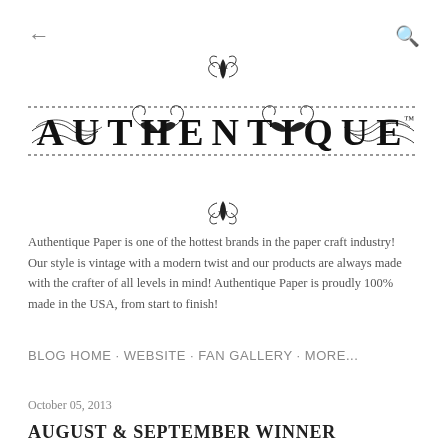[Figure (logo): Authentique Paper decorative logo with ornamental scrollwork, dashed borders, and serif wordmark reading AUTHENTIQUE with TM mark]
Authentique Paper is one of the hottest brands in the paper craft industry! Our style is vintage with a modern twist and our products are always made with the crafter of all levels in mind! Authentique Paper is proudly 100% made in the USA, from start to finish!
BLOG HOME · WEBSITE · FAN GALLERY · MORE...
October 05, 2013
AUGUST & SEPTEMBER WINNER